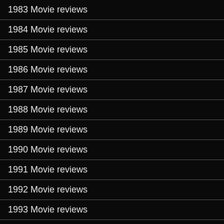1983 Movie reviews
1984 Movie reviews
1985 Movie reviews
1986 Movie reviews
1987 Movie reviews
1988 Movie reviews
1989 Movie reviews
1990 Movie reviews
1991 Movie reviews
1992 Movie reviews
1993 Movie reviews
1994 Movie reviews
1995 Movie reviews